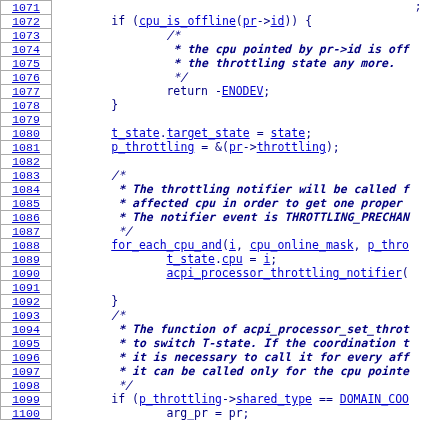Source code listing lines 1071-1100 showing ACPI processor throttling notifier logic in C
1071: (continuation)
1072: if (cpu_is_offline(pr->id)) {
1073:     /*
1074:      * the cpu pointed by pr->id is off
1075:      * the throttling state any more.
1076:      */
1077:         return -ENODEV;
1078: }
1079:
1080: t_state.target_state = state;
1081: p_throttling = &(pr->throttling);
1082:
1083: /*
1084:  * The throttling notifier will be called f
1085:  * affected cpu in order to get one proper
1086:  * The notifier event is THROTTLING_PRECHAN
1087:  */
1088: for_each_cpu_and(i, cpu_online_mask, p_thro
1089:         t_state.cpu = i;
1090:         acpi_processor_throttling_notifier(
1091:
1092: }
1093: /*
1094:  * The function of acpi_processor_set_throt
1095:  * to switch T-state. If the coordination t
1096:  * it is necessary to call it for every aff
1097:  * it can be called only for the cpu pointe
1098:  */
1099: if (p_throttling->shared_type == DOMAIN_COO
1100:         arg_pr = pr;